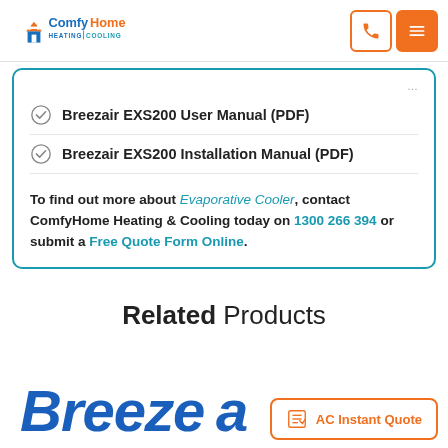[Figure (logo): ComfyHome Heating & Cooling logo with house/flame icon in blue and orange]
Breezair EXS200 User Manual (PDF)
Breezair EXS200 Installation Manual (PDF)
To find out more about Evaporative Cooler, contact ComfyHome Heating & Cooling today on 1300 266 394 or submit a Free Quote Form Online.
Related Products
[Figure (logo): Breezair brand logo in bold blue italic text]